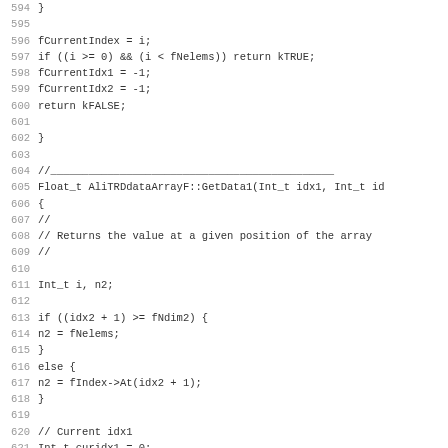[Figure (screenshot): Source code listing in monospace font showing lines 594-626 of a C++ file (AliTRDdataArrayF class), including function body for GetData1 with index arithmetic and loop logic.]